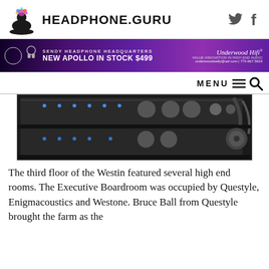HEADPHONE.GURU
[Figure (advertisement): Sendy Headphone Headquarters banner ad for Underwood Hifi, New Apollo in Stock $499, underwoodwally@aol.com | 770.667.5633]
[Figure (photo): Audio equipment stacked on shelf with blue LED indicators and cables]
The third floor of the Westin featured several high end rooms. The Executive Boardroom was occupied by Questyle, Enigmacoustics and Westone. Bruce Ball from Questyle brought the farm as the